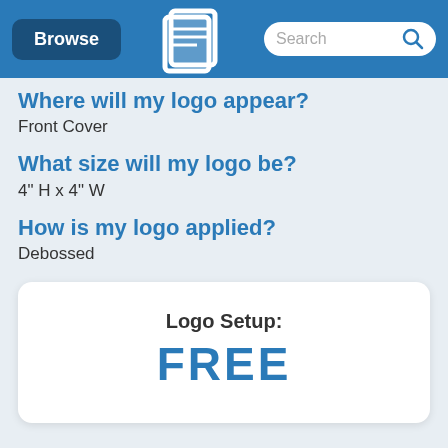Browse | [logo] | Search
Where will my logo appear?
Front Cover
What size will my logo be?
4" H x 4" W
How is my logo applied?
Debossed
Logo Setup:
FREE